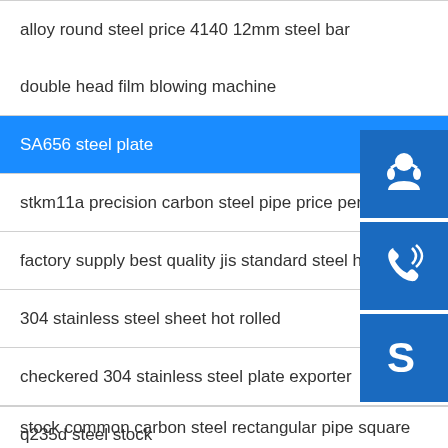alloy round steel price 4140 12mm steel bar
double head film blowing machine
SA656 steel plate
stkm11a precision carbon steel pipe price per m...
factory supply best quality jis standard steel h b...
304 stainless steel sheet hot rolled
checkered 304 stainless steel plate exporter
q235d steel stock
stock common carbon steel rectangular pipe square